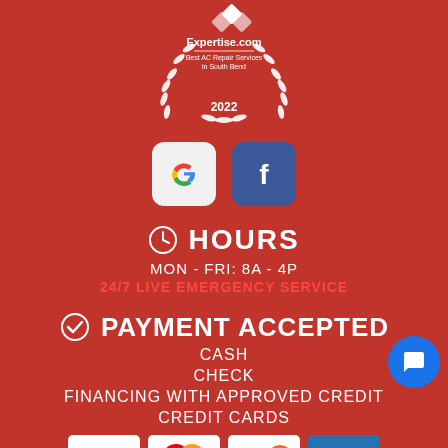[Figure (logo): Expertise.com badge - Best AC Repair Services in South Bend 2022, white laurel wreath design on red background]
[Figure (logo): Google and Facebook social media icons side by side]
HOURS
MON - FRI: 8A - 4P
24/7 LIVE EMERGENCY SERVICE
PAYMENT ACCEPTED
CASH
CHECK
FINANCING WITH APPROVED CREDIT
CREDIT CARDS
[Figure (logo): Visa, MasterCard, Discover, American Express credit card logos]